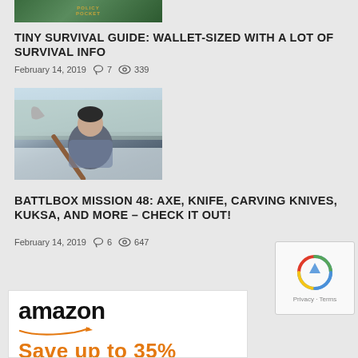[Figure (photo): Top portion of a survival guide image showing text on a green background]
TINY SURVIVAL GUIDE: WALLET-SIZED WITH A LOT OF SURVIVAL INFO
February 14, 2019  💬 7  👁 339
[Figure (photo): Man holding an axe over his shoulder in a snowy wooded area, wearing a black beanie and patterned jacket]
BATTLBOX MISSION 48: AXE, KNIFE, CARVING KNIVES, KUKSA, AND MORE – CHECK IT OUT!
February 14, 2019  💬 6  👁 647
[Figure (logo): Amazon logo with orange arrow smile, and partial orange text below showing a percentage]
[Figure (other): reCAPTCHA widget showing the circular reCAPTCHA icon with Privacy and Terms links]